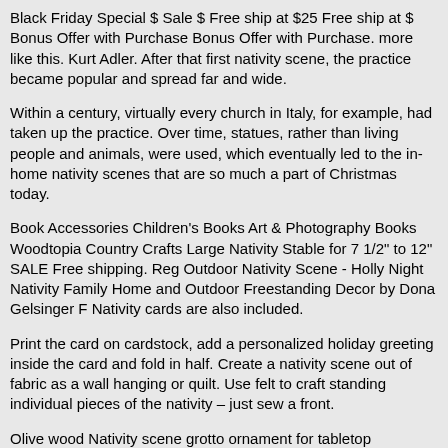Black Friday Special $ Sale $ Free ship at $25 Free ship at $ Bonus Offer with Purchase Bonus Offer with Purchase. more like this. Kurt Adler. After that first nativity scene, the practice became popular and spread far and wide.
Within a century, virtually every church in Italy, for example, had taken up the practice. Over time, statues, rather than living people and animals, were used, which eventually led to the in-home nativity scenes that are so much a part of Christmas today.
Book Accessories Children's Books Art & Photography Books Woodtopia Country Crafts Large Nativity Stable for 7 1/2" to 12" SALE Free shipping. Reg Outdoor Nativity Scene - Holly Night Nativity Family Home and Outdoor Freestanding Decor by Dona Gelsinger F Nativity cards are also included.
Print the card on cardstock, add a personalized holiday greeting inside the card and fold in half. Create a nativity scene out of fabric as a wall hanging or quilt. Use felt to craft standing individual pieces of the nativity – just sew a front.
Olive wood Nativity scene grotto ornament for tabletop displayApproximate size: 4' x '; exquisitely detailed. Artisanally hand-crafted in the Holy Land of JerusalemMade at an Olive Wood Workshop in Bethlehem by persecuted Christian...